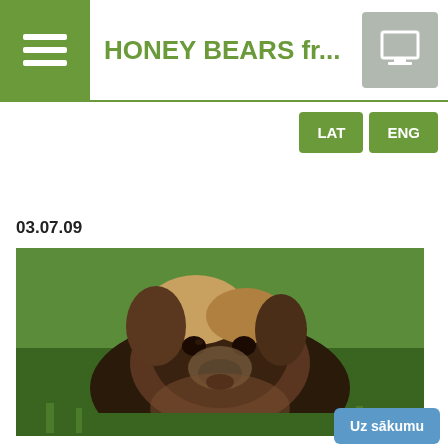HONEY BEARS fr...
LAT   ENG
03.07.09
[Figure (photo): A large fluffy Leonberger dog sitting in green grass, facing the camera, with distinctive black mane and tan/brown fur.]
Uz sākumu